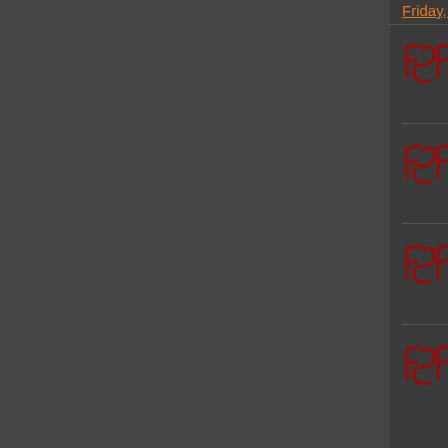Friday, 19-Mar-21 16:30:13 UTC fro
fsf — Assigning your copyright to the Free GPL and keep software fr ...
Thursday, 11-Mar-21 19:47:22 UTC
fsf — Assigning your copyright to the Free GPL and keep software fr ...
Wednesday, 10-Mar-21 19:47:20 U
fsf — Assigning your copyright to the Free GPL and keep software fr ...
Tuesday, 09-Mar-21 18:37:20 UTC
fsf — Assigning your copyright to the Free GPL and keep software fr ...
Monday, 08-Mar-21 19:22:20 UTC